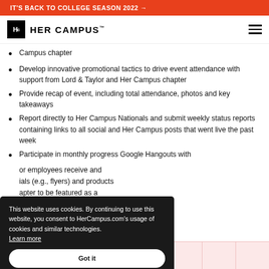IT'S BACK TO COLLEGE SEASON 2022 →
[Figure (logo): Her Campus logo with Hc icon and text HER CAMPUS]
Campus chapter
Develop innovative promotional tactics to drive event attendance with support from Lord & Taylor and Her Campus chapter
Provide recap of event, including total attendance, photos and key takeaways
Report directly to Her Campus Nationals and submit weekly status reports containing links to all social and Her Campus posts that went live the past week
Participate in monthly progress Google Hangouts with
or employees receive and ials (e.g., flyers) and products apter to be featured as a mpus Barnard's chapter site
This website uses cookies. By continuing to use this website, you consent to HerCampus.com's usage of cookies and similar technologies. Learn more  Got it